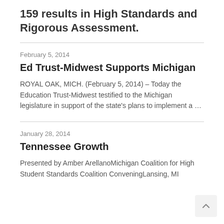159 results in High Standards and Rigorous Assessment.
February 5, 2014
Ed Trust-Midwest Supports Michigan
ROYAL OAK, MICH. (February 5, 2014) – Today the Education Trust-Midwest testified to the Michigan legislature in support of the state's plans to implement a …
January 28, 2014
Tennessee Growth
Presented by Amber ArellanoMichigan Coalition for High Student Standards Coalition ConveningLansing, MI